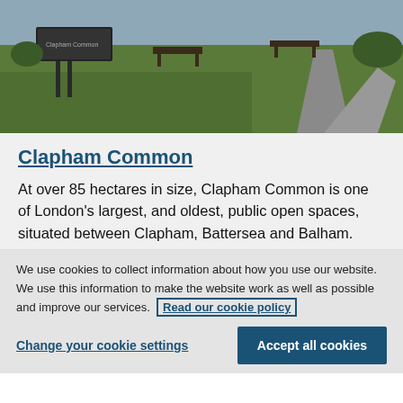[Figure (photo): Outdoor photograph of Clapham Common showing green grass, a path, benches, and a park sign under a grey sky]
Clapham Common
At over 85 hectares in size, Clapham Common is one of London's largest, and oldest, public open spaces, situated between Clapham, Battersea and Balham.
We use cookies to collect information about how you use our website. We use this information to make the website work as well as possible and improve our services. Read our cookie policy
Change your cookie settings
Accept all cookies